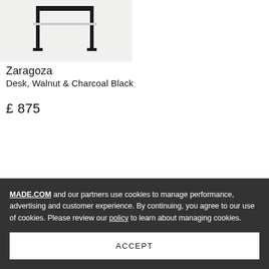[Figure (photo): Partial view of the Zaragoza desk with black metal frame on a light grey background]
Zaragoza
Desk, Walnut & Charcoal Black
£ 875
MADE.COM and our partners use cookies to manage performance, advertising and customer experience. By continuing, you agree to our use of cookies. Please review our policy to learn about managing cookies.
ACCEPT